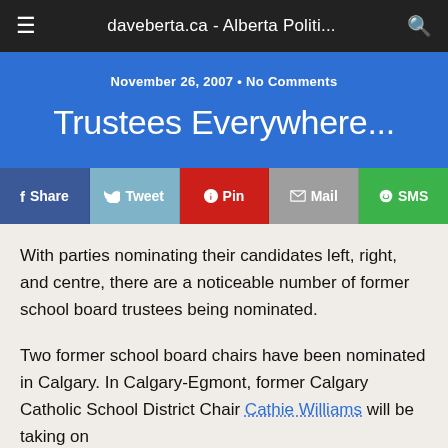daveberta.ca - Alberta Politi...
November 26, 2007 • No Comments
Trustees Everywhere...
[Figure (infographic): Social share bar with buttons: Share, Tweet, Pin, Mail, SMS]
With parties nominating their candidates left, right, and centre, there are a noticeable number of former school board trustees being nominated.
Two former school board chairs have been nominated in Calgary. In Calgary-Egmont, former Calgary Catholic School District Chair Cathie Williams will be taking on